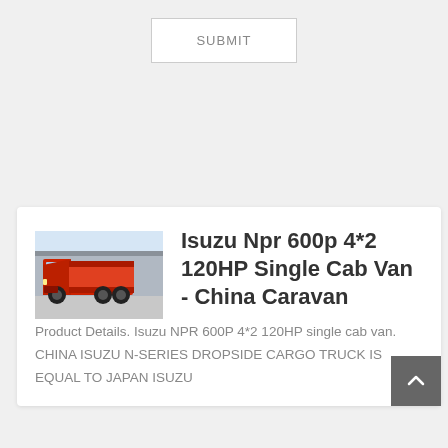SUBMIT
[Figure (photo): Red Isuzu NPR 600P 4x2 cargo truck parked in front of a building]
Isuzu Npr 600p 4*2 120HP Single Cab Van - China Caravan
Product Details. Isuzu NPR 600P 4*2 120HP single cab van. CHINA ISUZU N-SERIES DROPSIDE CARGO TRUCK IS EQUAL TO JAPAN ISUZU